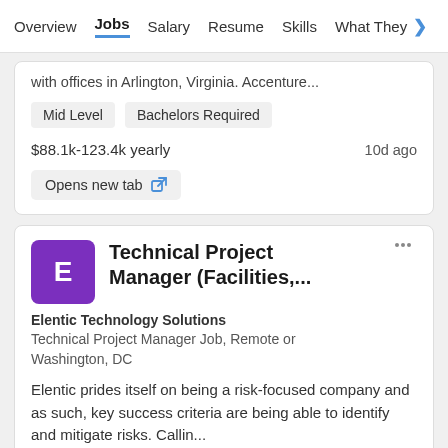Overview  Jobs  Salary  Resume  Skills  What They >
with offices in Arlington, Virginia. Accenture...
Mid Level   Bachelors Required
$88.1k-123.4k yearly   10d ago
Opens new tab
Technical Project Manager (Facilities,...
Elentic Technology Solutions
Technical Project Manager Job, Remote or Washington, DC
Elentic prides itself on being a risk-focused company and as such, key success criteria are being able to identify and mitigate risks. Callin...
Senior Level   Management